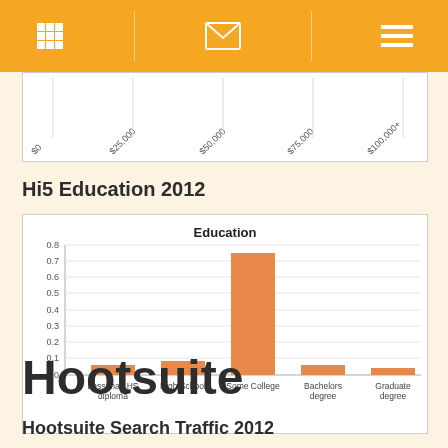[Navigation bar with grid, envelope, and menu icons]
[Figure (bar-chart): Partially visible horizontal bar chart showing income data, cut off at top of viewport]
Hi5 Education 2012
[Figure (bar-chart): Education]
Hootsuite
Hootsuite Search Traffic 2012